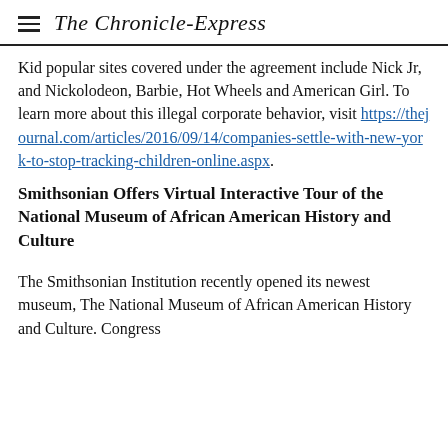The Chronicle-Express
Kid popular sites covered under the agreement include Nick Jr, and Nickolodeon, Barbie, Hot Wheels and American Girl. To learn more about this illegal corporate behavior, visit https://thejournal.com/articles/2016/09/14/companies-settle-with-new-york-to-stop-tracking-children-online.aspx.
Smithsonian Offers Virtual Interactive Tour of the National Museum of African American History and Culture
The Smithsonian Institution recently opened its newest museum, The National Museum of African American History and Culture. Congress